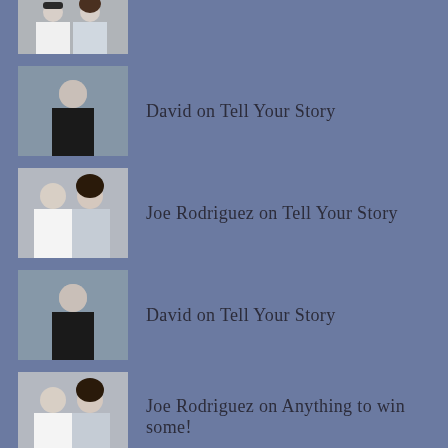[Figure (photo): Couple photo avatar (partially cropped at top)]
David on Tell Your Story
Joe Rodriguez on Tell Your Story
David on Tell Your Story
Joe Rodriguez on Anything to win some!
ARCHIVES
April 2022
November 2021